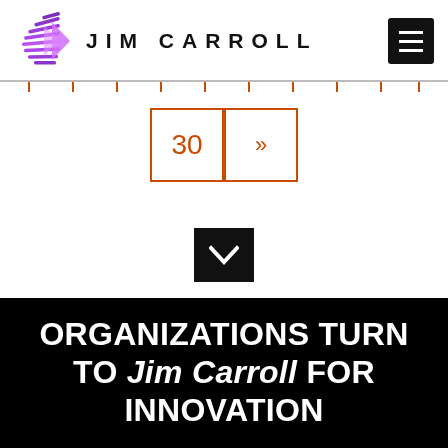[Figure (logo): Jim Carroll website logo with purple globe/sphere icon and JIM CARROLL text header with hamburger menu button]
[Figure (other): Navigation pagination bar with orange tick marks and two boxes showing page 30 and next arrow]
[Figure (other): Black square with white chevron/down arrow pointing downward]
ORGANIZATIONS TURN TO Jim Carroll FOR INNOVATION